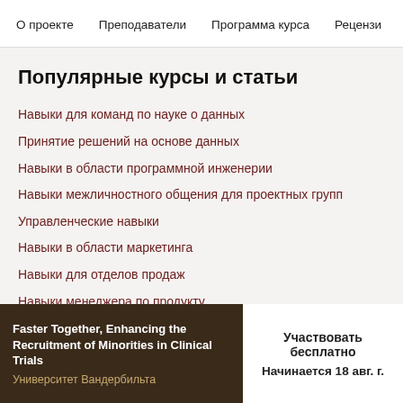О проекте  Преподаватели  Программа курса  Рецензи
Популярные курсы и статьи
Навыки для команд по науке о данных
Принятие решений на основе данных
Навыки в области программной инженерии
Навыки межличностного общения для проектных групп
Управленческие навыки
Навыки в области маркетинга
Навыки для отделов продаж
Навыки менеджера по продукту
Навыки в области финансов
Faster Together, Enhancing the Recruitment of Minorities in Clinical Trials
Университет Вандербильта
Участвовать бесплатно
Начинается 18 авг. г.